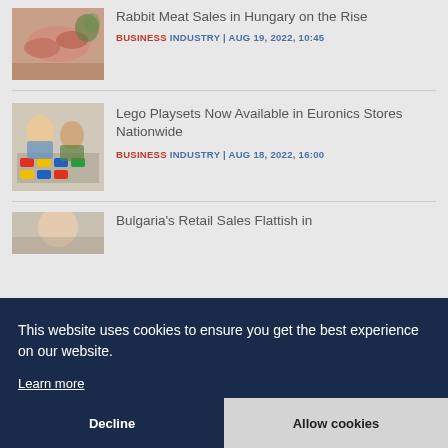[Figure (photo): Photo of rabbit meat on a wooden cutting board with greens]
Rabbit Meat Sales in Hungary on the Rise
BUSINESS INDUSTRY | AUG 19, 2022, 10:45
[Figure (photo): Photo of children playing with colorful Lego bricks]
Lego Playsets Now Available in Euronics Stores Nationwide
BUSINESS INDUSTRY | AUG 18, 2022, 16:00
[Figure (photo): Partial photo, clipped by cookie banner]
Bulgaria's Retail Sales Flattish in
This website uses cookies to ensure you get the best experience on our website.
Learn more
Decline
Allow cookies